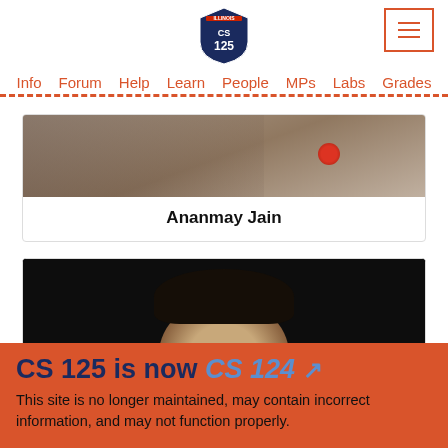[Figure (logo): CS 125 Illinois highway shield logo]
Info  Forum  Help  Learn  People  MPs  Labs  Grades
[Figure (photo): Partially visible photo of a person with blurred background, red circular element visible]
Ananmay Jain
[Figure (photo): Photo of a young man with dark hair against a black background]
CS 125 is now CS 124 ↗
This site is no longer maintained, may contain incorrect information, and may not function properly.